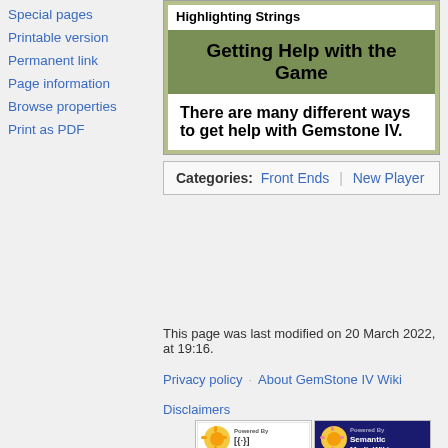Special pages
Printable version
Permanent link
Page information
Browse properties
Print as PDF
Highlighting Strings
Getting Help with the Game
There are many different ways to get help with Gemstone IV.
Categories: Front Ends | New Player
This page was last modified on 20 March 2022, at 19:16.
Privacy policy · About GemStone IV Wiki
Disclaimers
[Figure (logo): Powered by MediaWiki badge]
[Figure (logo): Powered by Semantic MediaWiki badge]